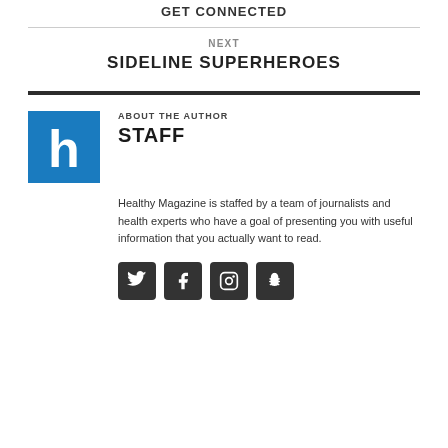GET CONNECTED
NEXT
SIDELINE SUPERHEROES
[Figure (logo): Healthy Magazine logo: blue square with white lowercase letter h]
ABOUT THE AUTHOR
STAFF
Healthy Magazine is staffed by a team of journalists and health experts who have a goal of presenting you with useful information that you actually want to read.
[Figure (infographic): Four social media icon buttons: Twitter, Facebook, Instagram, Snapchat]